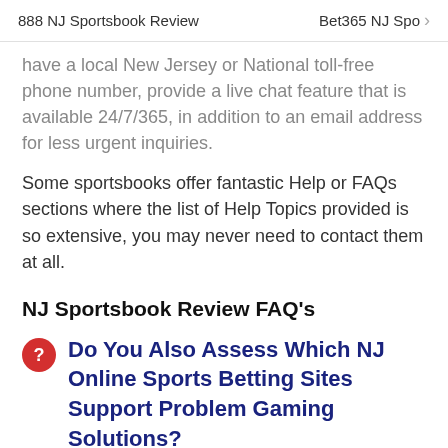888 NJ Sportsbook Review   Bet365 NJ Spo >
have a local New Jersey or National toll-free phone number, provide a live chat feature that is available 24/7/365, in addition to an email address for less urgent inquiries.
Some sportsbooks offer fantastic Help or FAQs sections where the list of Help Topics provided is so extensive, you may never need to contact them at all.
NJ Sportsbook Review FAQ's
Do You Also Assess Which NJ Online Sports Betting Sites Support Problem Gaming Solutions?
Yes. As part of our review process, we also look for either logos and/or a contact number or